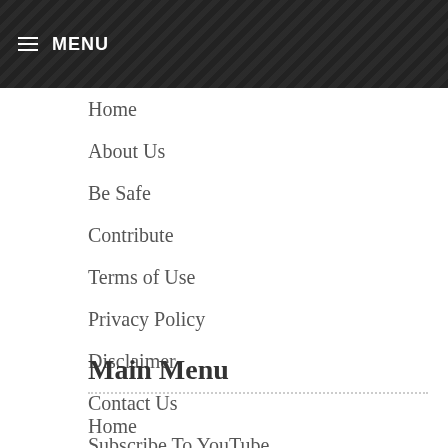≡ MENU
Home
About Us
Be Safe
Contribute
Terms of Use
Privacy Policy
Disclaimer
Contact Us
Subscribe To YouTube
Subscribe To Abraham
Main Menu
Home